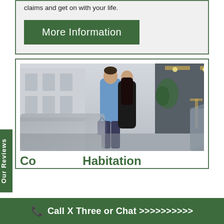claims and get on with your life.
More Information
[Figure (photo): A couple kissing outside a luxury hotel entrance, man in blue blazer and woman in black dress with shopping bags, blurred foreground]
Co... Habitation
Our Reviews
Call X Three or Chat >>>>>>>>>>